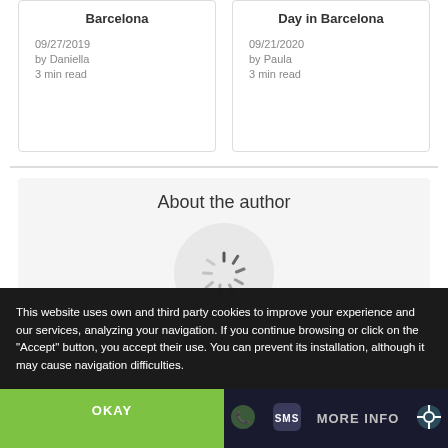Barcelona
09/27/2019
by Daniella
3 min read
Day in Barcelona
09/21/2020
by Paula
3 min read
About the author
[Figure (illustration): Circular author avatar placeholder with a loading spinner icon in the center]
Christine
This website uses own and third party cookies to improve your experience and our services, analyzing your navigation. If you continue browsing or click on the "Accept" button, you accept their use. You can prevent its installation, although it may cause navigation difficulties.
OKAY
MORE INFO